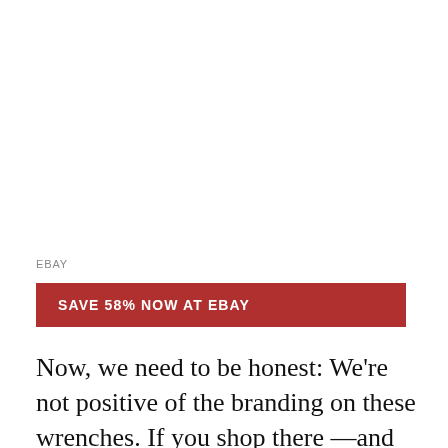EBAY
SAVE 58% NOW AT EBAY
Now, we need to be honest: We're not positive of the branding on these wrenches. If you shop there —and c'mon, we all do—you know that such is the nature of eBay.